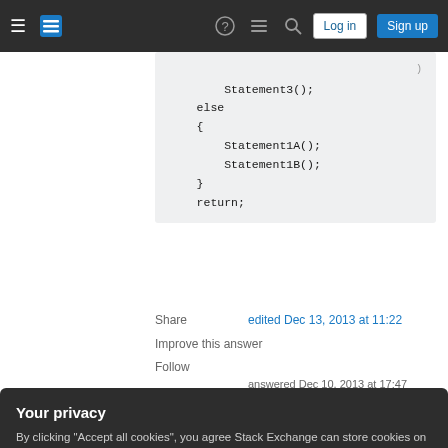Stack Exchange navigation bar with Log in and Sign up buttons
[Figure (screenshot): Code block showing else branch with Statement1A(), Statement1B(), closing brace, and return statement]
Share
edited Dec 13, 2013 at 11:22
Improve this answer
Follow
answered Dec 10, 2013 at 17:47
Your privacy
By clicking "Accept all cookies", you agree Stack Exchange can store cookies on your device and disclose information in accordance with our Cookie Policy.
Accept all cookies
Customize settings